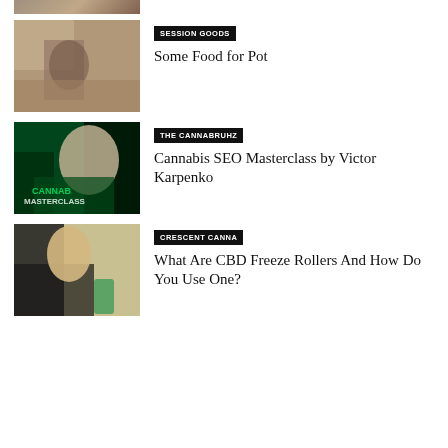[Figure (photo): Partial image strip at top of page showing cropped hands/objects]
[Figure (photo): Person holding a bottle/cup with food in background - Session Goods article image]
SESSION GOODS
Some Food for Pot
[Figure (photo): Cannabis Masterclass promotional image with man in green cannabis-branded shirt]
THE CANNABRUHZ
Cannabis SEO Masterclass by Victor Karpenko
[Figure (photo): Woman holding a CBD freeze roller product outdoors]
CRESCENT CANNA
What Are CBD Freeze Rollers And How Do You Use One?